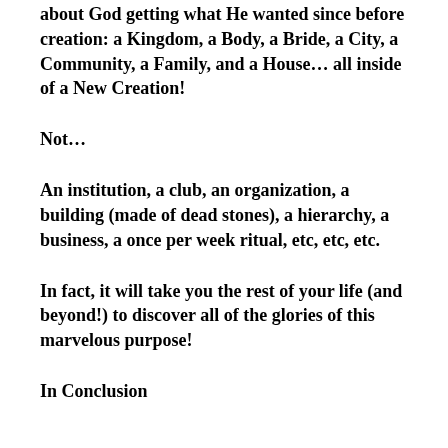about God getting what He wanted since before creation: a Kingdom, a Body, a Bride, a City, a Community, a Family, and a House… all inside of a New Creation!
Not…
An institution, a club, an organization, a building (made of dead stones), a hierarchy, a business, a once per week ritual, etc, etc, etc.
In fact, it will take you the rest of your life (and beyond!) to discover all of the glories of this marvelous purpose!
In Conclusion